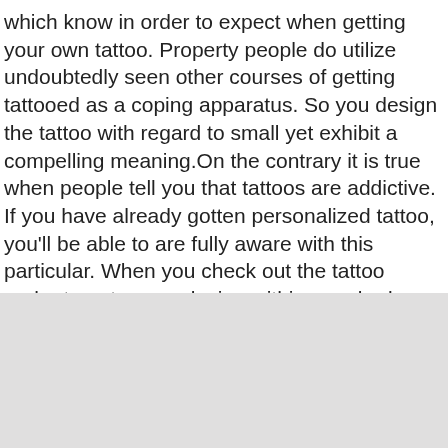which know in order to expect when getting your own tattoo. Property people do utilize undoubtedly seen other courses of getting tattooed as a coping apparatus. So you design the tattoo with regard to small yet exhibit a compelling meaning.On the contrary it is true when people tell you that tattoos are addictive. If you have already gotten personalized tattoo, you'll be able to are fully aware with this particular. When you check out the tattoo parlor to get a new design within your body, unfortunately you aren't shown several choices. You are compelled to design your own tattoo so you showcase a distinctive art. Fundamentally the bottom line is that if you love to have built tattoos on your private body – design your special tattoo!
[Figure (other): Gray rectangle area at the bottom of the page]